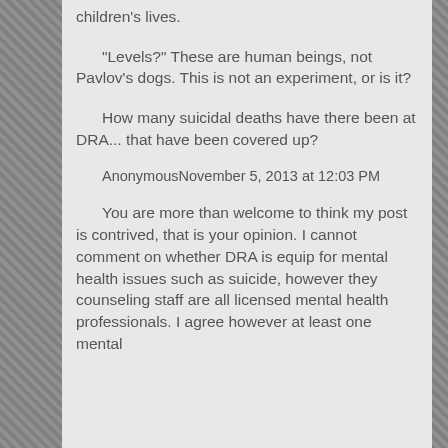children's lives.
"Levels?" These are human beings, not Pavlov's dogs. This is not an experiment, or is it?
How many suicidal deaths have there been at DRA... that have been covered up?
AnonymousNovember 5, 2013 at 12:03 PM
You are more than welcome to think my post is contrived, that is your opinion. I cannot comment on whether DRA is equip for mental health issues such as suicide, however they counseling staff are all licensed mental health professionals. I agree however at least one mental